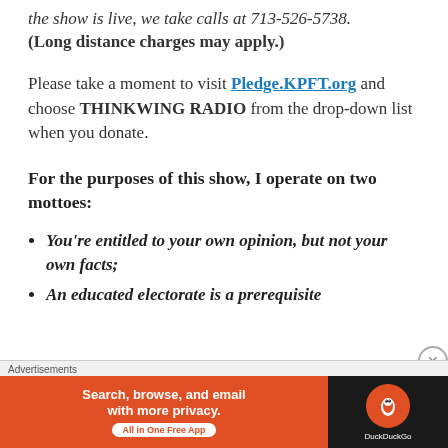the show is live, we take calls at 713-526-5738. (Long distance charges may apply.)
Please take a moment to visit Pledge.KPFT.org and choose THINKWING RADIO from the drop-down list when you donate.
For the purposes of this show, I operate on two mottoes:
You're entitled to your own opinion, but not your own facts;
An educated electorate is a prerequisite
[Figure (screenshot): DuckDuckGo advertisement banner: orange left panel with text 'Search, browse, and email with more privacy. All in One Free App' and black right panel with DuckDuckGo logo]